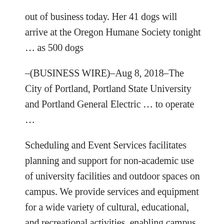out of business today. Her 41 dogs will arrive at the Oregon Humane Society tonight … as 500 dogs
–(BUSINESS WIRE)–Aug 8, 2018–The City of Portland, Portland State University and Portland General Electric … to operate …
Scheduling and Event Services facilitates planning and support for non-academic use of university facilities and outdoor spaces on campus. We provide services and equipment for a wide variety of cultural, educational, and recreational activities, enabling campus and community organizations to produce successful events.
Grit has become one of the most talked-about